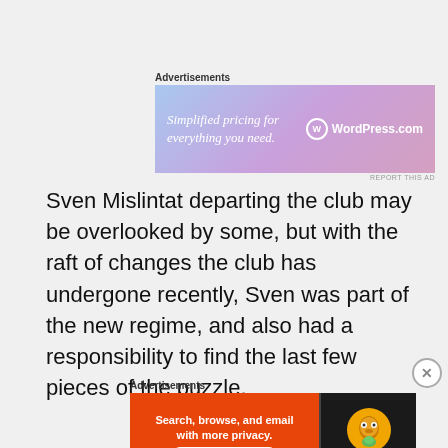[Figure (screenshot): WordPress.com advertisement banner with gradient blue-purple background. Text: 'Simplified pricing for everything you need.' with WordPress.com logo and wordmark on the right.]
REPORT THIS AD
Sven Mislintat departing the club may be overlooked by some, but with the raft of changes the club has undergone recently, Sven was part of the new regime, and also had a responsibility to find the last few pieces of the puzzle.
[Figure (screenshot): DuckDuckGo advertisement banner. Left side orange background: 'Search, browse, and email with more privacy. All in One Free App'. Right side dark background with DuckDuckGo duck logo and brand name.]
REPORT THIS AD